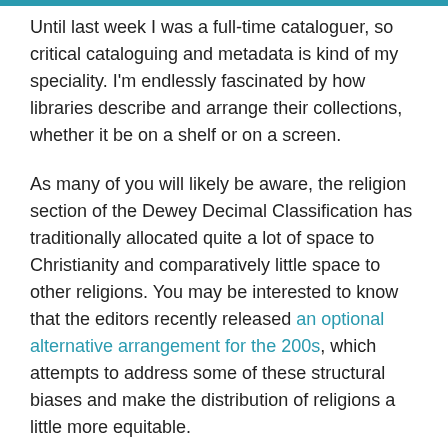Until last week I was a full-time cataloguer, so critical cataloguing and metadata is kind of my speciality. I'm endlessly fascinated by how libraries describe and arrange their collections, whether it be on a shelf or on a screen.
As many of you will likely be aware, the religion section of the Dewey Decimal Classification has traditionally allocated quite a lot of space to Christianity and comparatively little space to other religions. You may be interested to know that the editors recently released an optional alternative arrangement for the 200s, which attempts to address some of these structural biases and make the distribution of religions a little more equitable.
Dewey has also historically copped a lot of flak for classifying works on Indigenous and First Nations spirituality, including Dreaming and creation stories, as